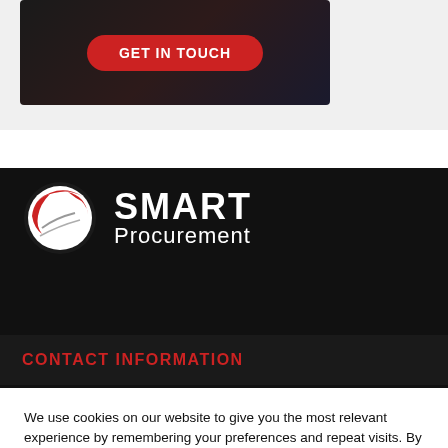[Figure (screenshot): Dark background image card with GET IN TOUCH red rounded button]
[Figure (logo): Smart Procurement logo: red globe icon with SMART Procurement text in white on dark background]
CONTACT INFORMATION
We use cookies on our website to give you the most relevant experience by remembering your preferences and repeat visits. By clicking "Accept All", you consent to the use of ALL the cookies. However, you may visit "Cookie Settings" to provide a controlled consent.
Cookie Settings | Accept All